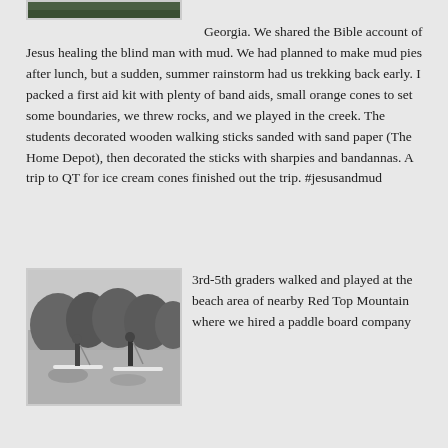[Figure (photo): Partial top edge of a photo visible at the very top of the page — appears to be a nature/outdoor scene in black and white.]
Georgia. We shared the Bible account of Jesus healing the blind man with mud. We had planned to make mud pies after lunch, but a sudden, summer rainstorm had us trekking back early. I packed a first aid kit with plenty of band aids, small orange cones to set some boundaries, we threw rocks, and we played in the creek. The students decorated wooden walking sticks sanded with sand paper (The Home Depot), then decorated the sticks with sharpies and bandannas. A trip to QT for ice cream cones finished out the trip. #jesusandmud
[Figure (photo): Black and white photograph of people on paddleboards on a lake or river, with trees in the background.]
3rd-5th graders walked and played at the beach area of nearby Red Top Mountain where we hired a paddle board company